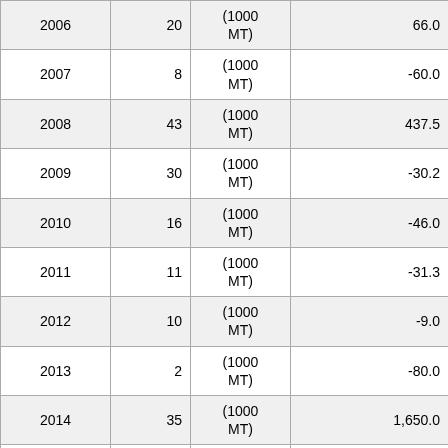| Year | Count | Unit | Value |
| --- | --- | --- | --- |
| 2006 | 20 | (1000 MT) | 66.0 |
| 2007 | 8 | (1000 MT) | -60.0 |
| 2008 | 43 | (1000 MT) | 437.5 |
| 2009 | 30 | (1000 MT) | -30.2 |
| 2010 | 16 | (1000 MT) | -46.0 |
| 2011 | 11 | (1000 MT) | -31.3 |
| 2012 | 10 | (1000 MT) | -9.0 |
| 2013 | 2 | (1000 MT) | -80.0 |
| 2014 | 35 | (1000 MT) | 1,650.0 |
| 2015 | 19 | (1000 MT) | -45.7 |
| 2016 | 8 | (1000 MT) | -57.8 |
| 2017 | 14 | (1000 MT) | 75.0 |